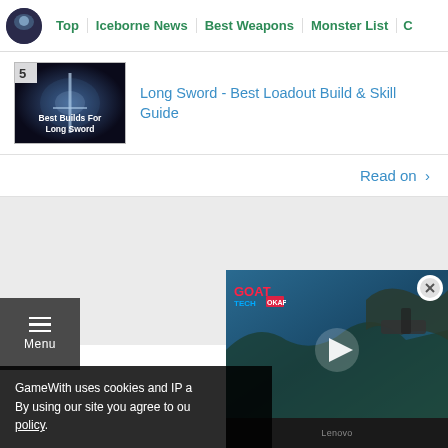Top | Iceborne News | Best Weapons | Monster List | C
[Figure (screenshot): Thumbnail image for Long Sword Best Builds guide with number 5 badge]
Long Sword - Best Loadout Build & Skill Guide
Read on >
[Figure (screenshot): Gray advertisement area]
[Figure (screenshot): Hamburger menu button with Menu label]
[Figure (screenshot): Video player overlay showing game footage with GoatTech logo and play button, device bar at bottom]
GameWith uses cookies and IP a By using our site you agree to ou policy.